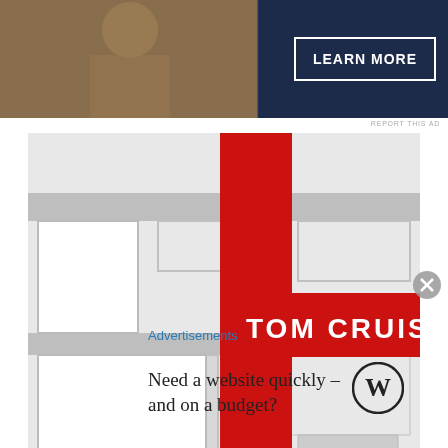[Figure (photo): Top advertisement banner with dark navy background showing 'LEARN MORE' button and a partial image on the left side]
REPORT THIS AD
[Figure (photo): Valkyrie movie poster featuring Tom Cruise. Shows architectural floor plan background in gray with large red cross/plus symbol. Text reads 'TOM CRUISE', 'VALKYRIE', 'MANY SAW EVIL. THEY DARED TO STOP IT.' and 'FROM THE DIRECTOR OF THE USUAL SUSPECTS AND X-MEN']
Advertisements
Need a website quickly – and on a budget?
[Figure (logo): WordPress logo - circular W mark]